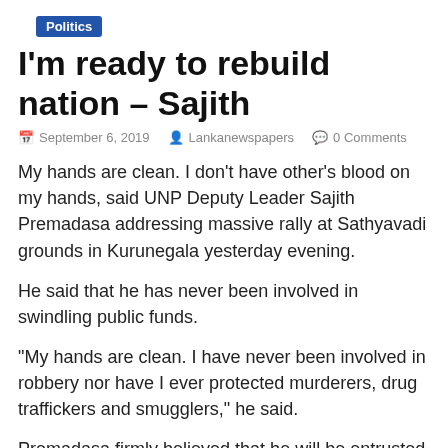Politics
I'm ready to rebuild nation – Sajith
September 6, 2019  Lankanewspapers  0 Comments
My hands are clean. I don't have other's blood on my hands, said UNP Deputy Leader Sajith Premadasa addressing massive rally at Sathyavadi grounds in Kurunegala yesterday evening.
He said that he has never been involved in swindling public funds.
“My hands are clean. I have never been involved in robbery nor have I ever protected murderers, drug traffickers and smugglers,” he said.
Premadasa firmly believed that he will be entrusted with the task of rebuilding the nation with the blessings of